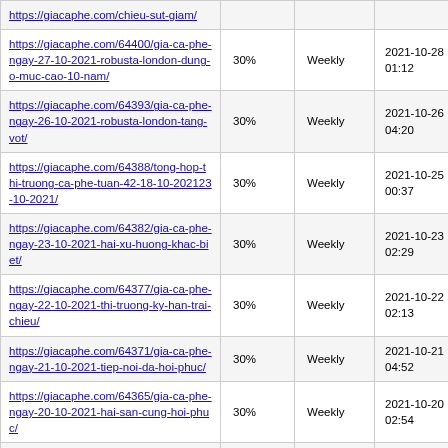| https://giacaphe.com/chieu-sut-giam/ | 30% | Weekly | 2021-10-28 01:12 |
| https://giacaphe.com/64400/gia-ca-phe-ngay-27-10-2021-robusta-london-dung-o-muc-cao-10-nam/ | 30% | Weekly | 2021-10-28 01:12 |
| https://giacaphe.com/64393/gia-ca-phe-ngay-26-10-2021-robusta-london-tang-vot/ | 30% | Weekly | 2021-10-26 04:20 |
| https://giacaphe.com/64388/tong-hop-thi-truong-ca-phe-tuan-42-18-10-202123-10-2021/ | 30% | Weekly | 2021-10-25 00:37 |
| https://giacaphe.com/64382/gia-ca-phe-ngay-23-10-2021-hai-xu-huong-khac-biet/ | 30% | Weekly | 2021-10-23 02:29 |
| https://giacaphe.com/64377/gia-ca-phe-ngay-22-10-2021-thi-truong-ky-han-trai-chieu/ | 30% | Weekly | 2021-10-22 02:13 |
| https://giacaphe.com/64371/gia-ca-phe-ngay-21-10-2021-tiep-noi-da-hoi-phuc/ | 30% | Weekly | 2021-10-21 04:52 |
| https://giacaphe.com/64365/gia-ca-phe-ngay-20-10-2021-hai-san-cung-hoi-phuc/ | 30% | Weekly | 2021-10-20 02:54 |
| https://giacaphe.com/64357/gia-ca-phe-ngay-19-10-2021-tiep-tuc-suy-yeu/ | 30% | Weekly | 2021-10-20 01:49 |
| https://giacaphe.com/64352/tong-hop-thi-truong-ca-phe-tuan-41-11-10-202116-10-2021/ | 30% | Weekly | 2021-10-17 15:46 |